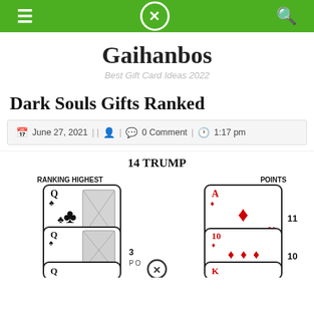Gaihanbos — Best Gift Card Ideas 2022
Gaihanbos
Best Gift Card Ideas 2022
Dark Souls Gifts Ranked
June 27, 2021 || 👤 | 💬 0 Comment | 🕐 1:17 pm
[Figure (illustration): Card game diagram showing '14 TRUMP' with playing cards arranged: Queen of Clubs (ranking highest), Queen of Spades (3 points), and on the right side Ace of Diamonds (11 points), 10 of Diamonds (10 points), and King of Diamonds partially visible. Labels: RANKING HIGHEST, POINTS.]